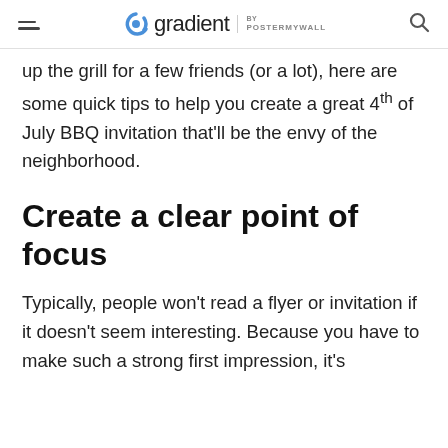gradient by postermywall
up the grill for a few friends (or a lot), here are some quick tips to help you create a great 4th of July BBQ invitation that'll be the envy of the neighborhood.
Create a clear point of focus
Typically, people won't read a flyer or invitation if it doesn't seem interesting. Because you have to make such a strong first impression, it's